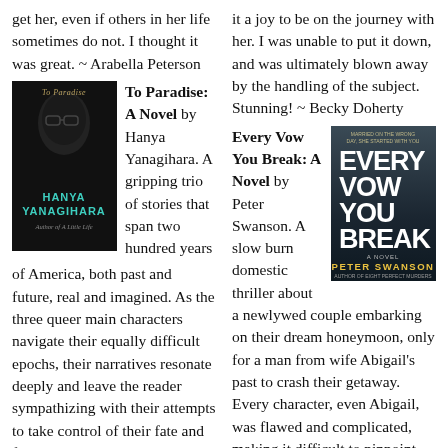get her, even if others in her life sometimes do not. I thought it was great. ~ Arabella Peterson
it a joy to be on the journey with her. I was unable to put it down, and was ultimately blown away by the handling of the subject. Stunning! ~ Becky Doherty
[Figure (illustration): Book cover of 'To Paradise: A Novel' by Hanya Yanagihara — dark cover with a person's face and teal author name text]
To Paradise: A Novel by Hanya Yanagihara. A gripping trio of stories that span two hundred years of America, both past and future, real and imagined. As the three queer main characters navigate their equally difficult epochs, their narratives resonate deeply and leave the reader sympathizing with their attempts to take control of their fate and freedom. Yanagihara
Every Vow You Break: A Novel by Peter Swanson. A slow burn domestic thriller about a newlywed couple embarking on their dream honeymoon, only for a man from wife Abigail's past to crash their getaway. Every character, even Abigail, was flawed and complicated, making it difficult to pinpoint
[Figure (illustration): Book cover of 'Every Vow You Break: A Novel' by Peter Swanson — dark moody cover with white bold title text and yellow author name]